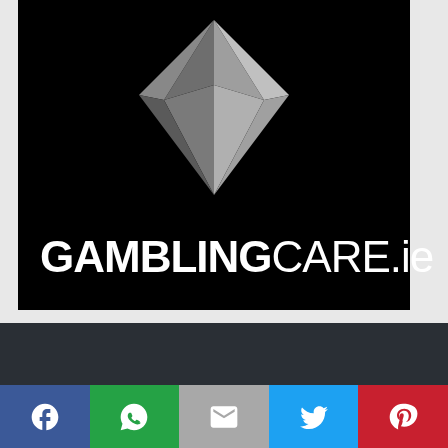[Figure (logo): GamblingCare.ie logo on black background with a geometric diamond shape made of grey triangular facets above the text 'GAMBLINGCARE.ie' in white on black.]
[Figure (infographic): Social media sharing bar with five buttons: Facebook (blue, f icon), WhatsApp (green, chat bubble icon), Email (grey, envelope icon), Twitter (light blue, bird icon), Pinterest (red, P icon).]